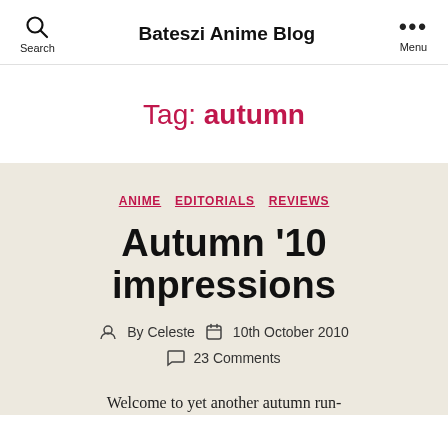Bateszi Anime Blog
Tag: autumn
ANIME  EDITORIALS  REVIEWS
Autumn '10 impressions
By Celeste   10th October 2010   23 Comments
Welcome to yet another autumn run-